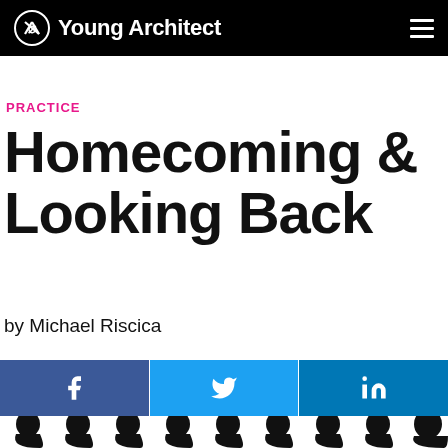Young Architect
PRACTICE
Homecoming & Looking Back
by Michael Riscica
[Figure (infographic): Social share buttons: Facebook, Twitter, LinkedIn]
[Figure (illustration): Row of black silhouette head profiles facing left, partially visible at bottom of page]